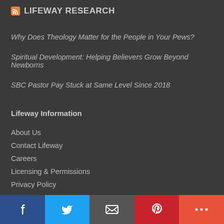LIFEWAY RESEARCH
Why Does Theology Matter for the People in Your Pews?
Spiritual Development: Helping Believers Grow Beyond Newborns
SBC Pastor Pay Stuck at Same Level Since 2018
Lifeway Information
About Us
Contact Lifeway
Careers
Licensing & Permissions
Privacy Policy
[Figure (infographic): Social media share buttons bar: Facebook (dark blue), Twitter (blue), Email (gray), Pinterest (red), More (orange-red)]